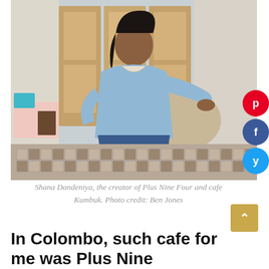[Figure (photo): Shana Dandeniya seated on a wooden stool in a room with patterned tile floor and wooden doors, wearing a light blue shirt and ripped jeans, looking at the camera.]
Shana Dandeniya, the creator of Plus Nine Four and cafe Kumbuk. Photo credit: Ben Jones
In Colombo, such cafe for me was Plus Nine